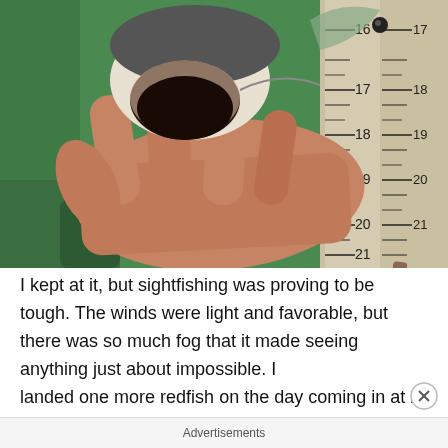[Figure (photo): Close-up photo of a person's hand holding a small fish (redfish) mouth-open, against a green background with a measuring ruler visible on the right side showing measurements from about 16 to 21 inches.]
I kept at it, but sightfishing was proving to be tough. The winds were light and favorable, but there was so much fog that it made seeing anything just about impossible. I landed one more redfish on the day coming in at 20" and
Advertisements